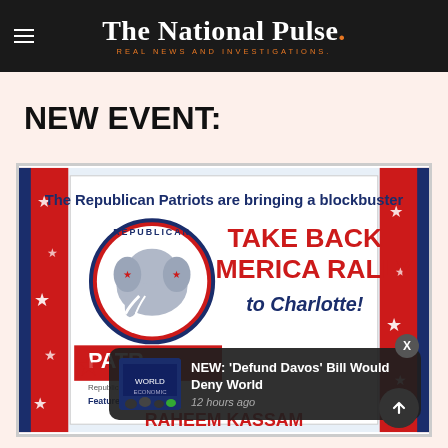The National Pulse. REAL NEWS AND INVESTIGATIONS.
NEW EVENT:
[Figure (photo): Rally promotional poster showing 'The Republican Patriots are bringing a blockbuster TAKE BACK AMERICA RALLY to Charlotte!' with Republican elephant logo, featuring Raheem Kassam. Red, white and blue patriotic design with stars.]
NEW: 'Defund Davos' Bill Would Deny World
12 hours ago